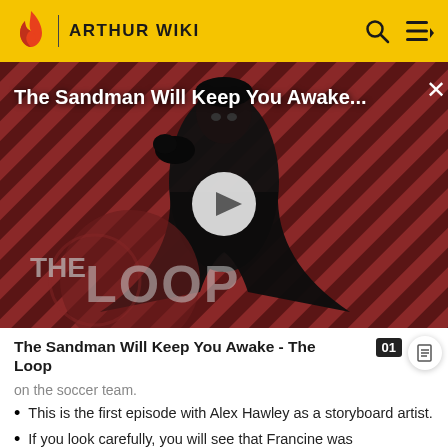ARTHUR WIKI
[Figure (screenshot): Video thumbnail for 'The Sandman Will Keep You Awake...' showing a dark-cloaked figure against a red and black diagonal striped background with The Loop logo overlay and a play button in the center]
The Sandman Will Keep You Awake - The Loop
on the soccer team.
This is the first episode with Alex Hawley as a storyboard artist.
If you look carefully, you will see that Francine was